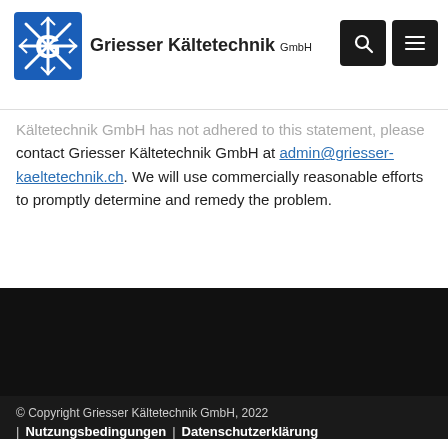[Figure (logo): Griesser Kältetechnik GmbH logo with blue snowflake badge and company name]
Kältetechnik GmbH has not adhered to this statement, please contact Griesser Kältetechnik GmbH at admin@griesser-kaeltetechnik.ch. We will use commercially reasonable efforts to promptly determine and remedy the problem.
© Copyright Griesser Kältetechnik GmbH, 2022  |  Nutzungsbedingungen  |  Datenschutzerklärung